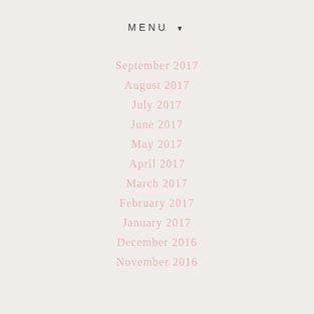MENU ▼
September 2017
August 2017
July 2017
June 2017
May 2017
April 2017
March 2017
February 2017
January 2017
December 2016
November 2016